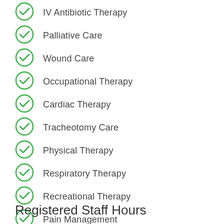IV Antibiotic Therapy
Palliative Care
Wound Care
Occupational Therapy
Cardiac Therapy
Tracheotomy Care
Physical Therapy
Respiratory Therapy
Recreational Therapy
Pain Management
Orthopedic Rehabilitation
Registered Staff Hours